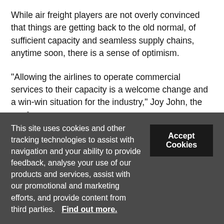While air freight players are not overly convinced that things are getting back to the old normal, of sufficient capacity and seamless supply chains, anytime soon, there is a sense of optimism.
“Allowing the airlines to operate commercial services to their capacity is a welcome change and a win-win situation for the industry,” Joy John, the newly
This site uses cookies and other tracking technologies to assist with navigation and your ability to provide feedback, analyse your use of our products and services, assist with our promotional and marketing efforts, and provide content from third parties.  Find out more.